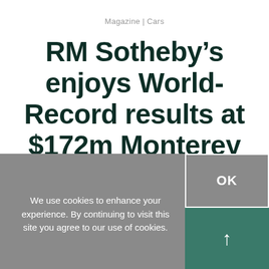Magazine | Cars
RM Sotheby’s enjoys World-Record results at $172m Monterey auction
We use cookies to enhance your experience. By continuing to visit this site you agree to our use of cookies.